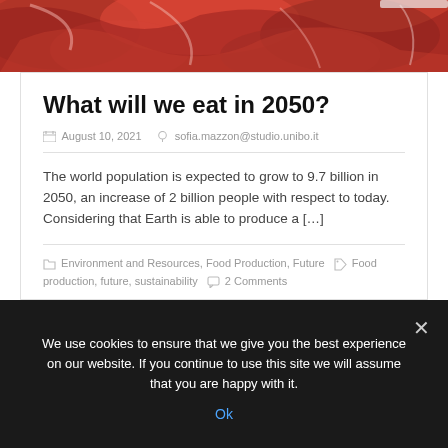[Figure (photo): Close-up photo of raw red meat/offal on a white tray, partially visible at top of page]
What will we eat in 2050?
August 10, 2021   sofia.mazzon@studio.unibo.it
The world population is expected to grow to 9.7 billion in 2050, an increase of 2 billion people with respect to today. Considering that Earth is able to produce a […]
Environment and Resources, Food Production, Future   Food production, future, sustainability   2 Comments
We use cookies to ensure that we give you the best experience on our website. If you continue to use this site we will assume that you are happy with it.
Ok